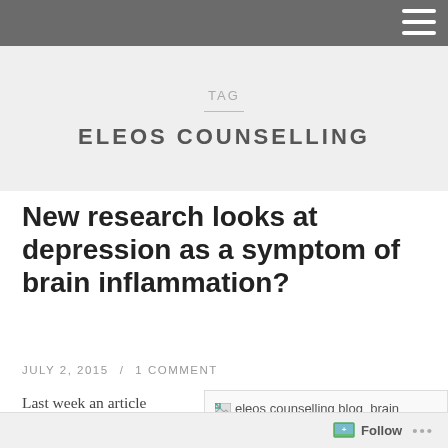TAG
ELEOS COUNSELLING
New research looks at depression as a symptom of brain inflammation?
JULY 2, 2015 / 1 COMMENT
Last week an article published in New Scientist threw a
[Figure (photo): Image placeholder for eleos counselling blog_brain]
Follow ...